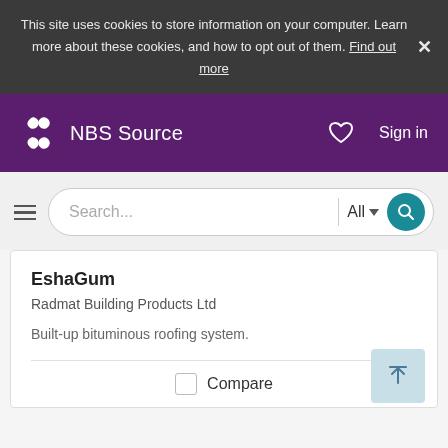This site uses cookies to store information on your computer. Learn more about these cookies, and how to opt out of them. Find out more
NBS Source
[Figure (screenshot): Search bar with hamburger menu, Search... input, All dropdown, and teal search button]
EshaGum
Radmat Building Products Ltd
Built-up bituminous roofing system.
Compare